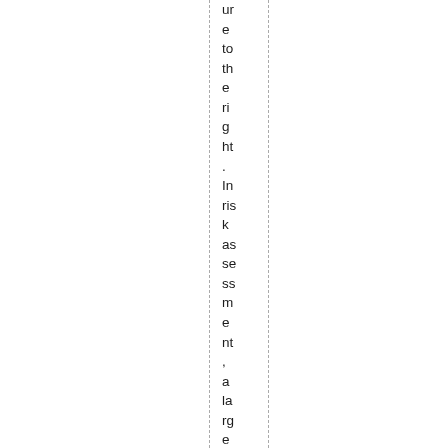ure to the right. In risk assessment, a large dam has 4,0